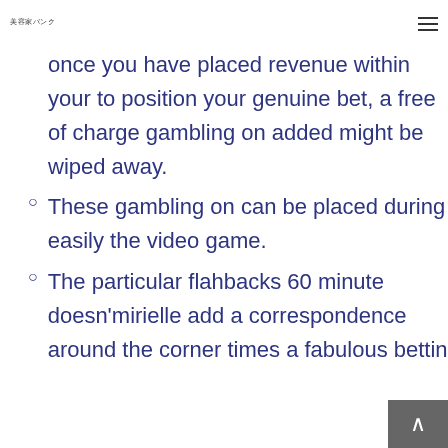美容家バンク
once you have placed revenue within your to position your genuine bet, a free of charge gambling on added might be wiped away.
These gambling on can be placed during easily the video game.
The particular flahbacks 60 minute doesn'mirielle add a correspondence around the corner times a fabulous bettin